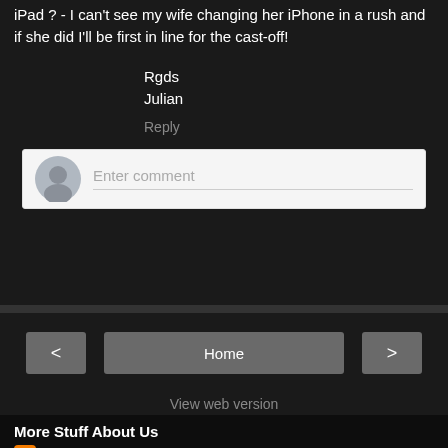iPad ? - I can't see my wife changing her iPhone in a rush and if she did I'll be first in line for the cast-off!
Rgds
Julian
Reply
[Figure (screenshot): Comment input box with avatar and placeholder text 'Enter comment']
[Figure (screenshot): Navigation buttons: left arrow, Home, right arrow]
View web version
More Stuff About Us
WPATW
Celebrating wildlife photography across the ocean, this blogsite is a joint collaboration between two wildlife photographers, David S...